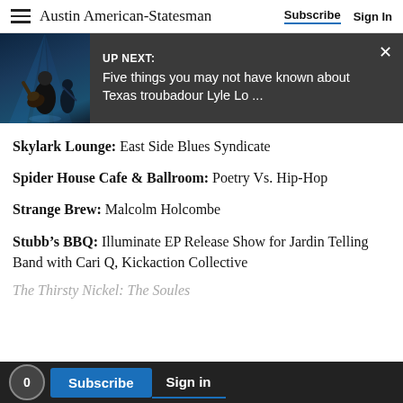Austin American-Statesman  Subscribe  Sign In
[Figure (screenshot): UP NEXT banner with image of guitarist on stage with blue stage lighting. Text reads: 'UP NEXT: Five things you may not have known about Texas troubadour Lyle Lo ...']
Skylark Lounge: East Side Blues Syndicate
Spider House Cafe & Ballroom: Poetry Vs. Hip-Hop
Strange Brew: Malcolm Holcombe
Stubb's BBQ: Illuminate EP Release Show for Jardin Telling Band with Cari Q, Kickaction Collective
The Thirsty Nickel: The Soules